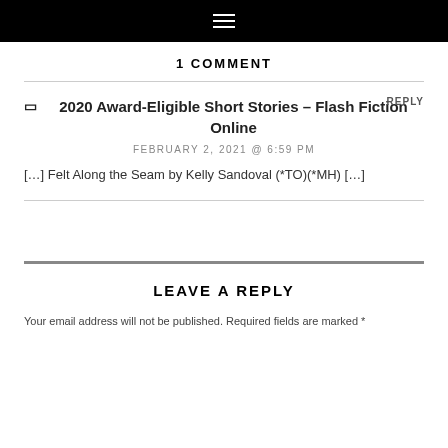☰
1 COMMENT
🔖 2020 Award-Eligible Short Stories – Flash Fiction Online
FEBRUARY 2, 2021 @ 6:59 PM
[…] Felt Along the Seam by Kelly Sandoval (*TO)(*MH) […]
LEAVE A REPLY
Your email address will not be published. Required fields are marked *